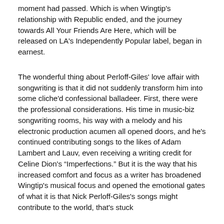moment had passed. Which is when Wingtip's relationship with Republic ended, and the journey towards All Your Friends Are Here, which will be released on LA's Independently Popular label, began in earnest.
The wonderful thing about Perloff-Giles' love affair with songwriting is that it did not suddenly transform him into some cliche'd confessional balladeer. First, there were the professional considerations. His time in music-biz songwriting rooms, his way with a melody and his electronic production acumen all opened doors, and he's continued contributing songs to the likes of Adam Lambert and Lauv, even receiving a writing credit for Celine Dion's “Imperfections.” But it is the way that his increased comfort and focus as a writer has broadened Wingtip's musical focus and opened the emotional gates of what it is that Nick Perloff-Giles's songs might contribute to the world, that's stuck
“I think, for a while, the line between writing for other people and writing for myself was sort of blurry. And I think I fell into that trap a little bit. But singing and doing [Wingtip] helped distinguish it, made it kind of freeing, because I do still enjoy going back and